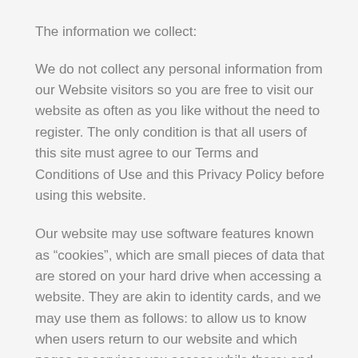The information we collect:
We do not collect any personal information from our Website visitors so you are free to visit our website as often as you like without the need to register. The only condition is that all users of this site must agree to our Terms and Conditions of Use and this Privacy Policy before using this website.
Our website may use software features known as “cookies”, which are small pieces of data that are stored on your hard drive when accessing a website. They are akin to identity cards, and we may use them as follows: to allow us to know when users return to our website and which pages or services you access while there; and to